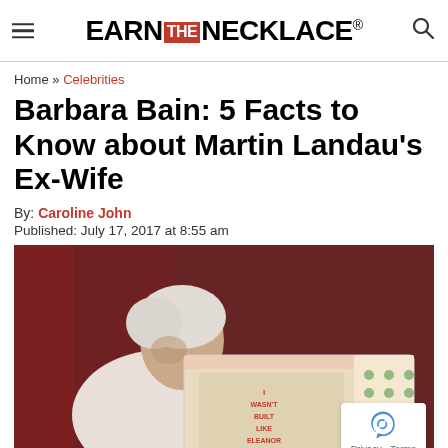EARN THE NECKLACE®
Home » Celebrities
Barbara Bain: 5 Facts to Know about Martin Landau's Ex-Wife
By: Caroline John
Published: July 17, 2017 at 8:55 am
[Figure (photo): Barbara Bain, an elderly woman with white hair wearing a white blazer, leaning over a large illustrated board. A reCAPTCHA privacy badge is visible in the bottom right corner.]